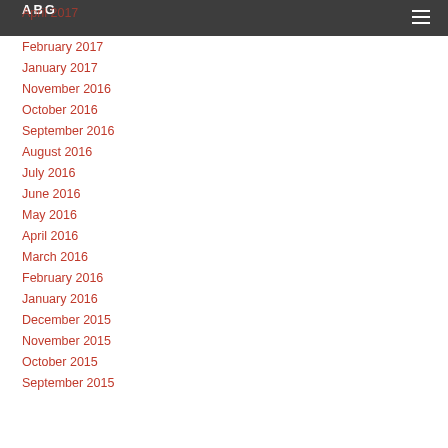ABG
February 2017
January 2017
November 2016
October 2016
September 2016
August 2016
July 2016
June 2016
May 2016
April 2016
March 2016
February 2016
January 2016
December 2015
November 2015
October 2015
September 2015